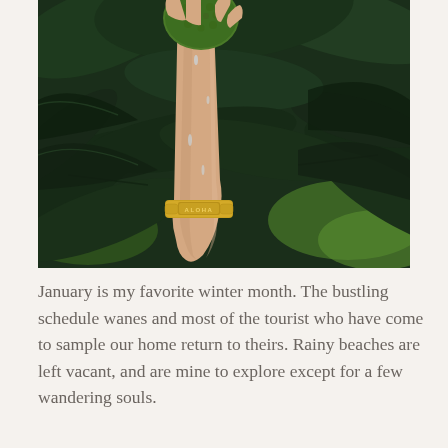[Figure (photo): A hand raised upward holding a large green tropical fruit (appears to be breadfruit or jackfruit), with a gold bracelet engraved with 'ALOHA' visible on the wrist, surrounded by large dark green tropical leaves with rain droplets, lush green foliage in background.]
January is my favorite winter month. The bustling schedule wanes and most of the tourist who have come to sample our home return to theirs. Rainy beaches are left vacant, and are mine to explore except for a few wandering souls.